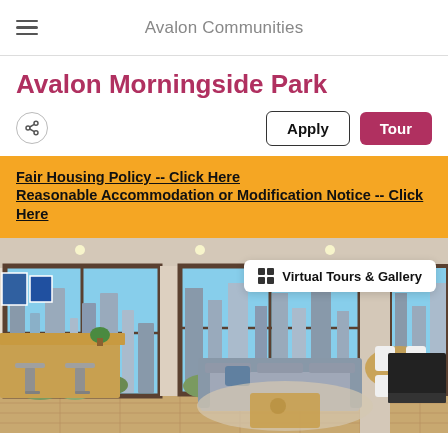Avalon Communities
Avalon Morningside Park
Apply | Tour
Fair Housing Policy -- Click Here
Reasonable Accommodation or Modification Notice -- Click Here
[Figure (photo): Interior photo of a modern apartment living room and dining area with large floor-to-ceiling windows showing a city skyline view. Shows kitchen counter with bar stools, sofa, area rug, and dining table with white chairs. A 'Virtual Tours & Gallery' button overlay is visible in the upper right of the image.]